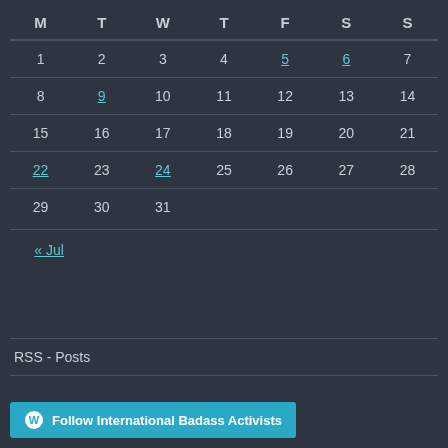| M | T | W | T | F | S | S |
| --- | --- | --- | --- | --- | --- | --- |
| 1 | 2 | 3 | 4 | 5 | 6 | 7 |
| 8 | 9 | 10 | 11 | 12 | 13 | 14 |
| 15 | 16 | 17 | 18 | 19 | 20 | 21 |
| 22 | 23 | 24 | 25 | 26 | 27 | 28 |
| 29 | 30 | 31 |  |  |  |  |
« Jul
RSS - Posts
Follow International Badass Activists